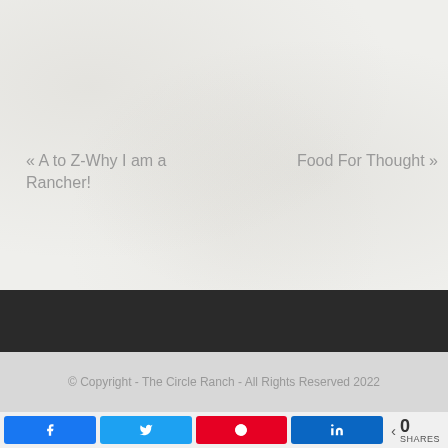« A to Z-Why I am a Rancher!
Food For Thought »
© Copyright - The Circle Ranch - All Rights Reserved 2022